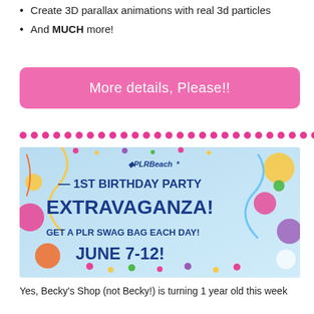Create 3D parallax animations with real 3d particles
And MUCH more!
More details, Please!!
[Figure (infographic): PLRBeach 1st Birthday Party Extravaganza banner. Text reads: PLRBeach 1ST BIRTHDAY PARTY EXTRAVAGANZA! GET A PLR SWAG BAG EACH DAY! JUNE 7-12! with colorful party decorations including balloons, confetti, streamers, and candles on a light blue background.]
Yes, Becky's Shop (not Becky!) is turning 1 year old this week